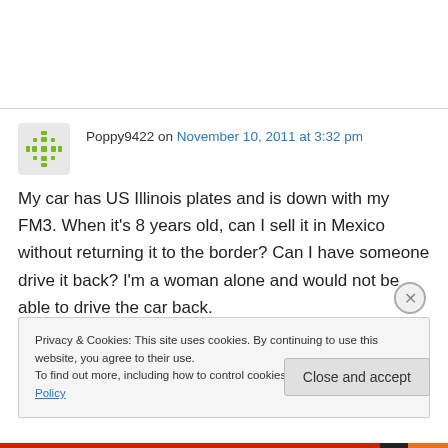Poppy9422 on November 10, 2011 at 3:32 pm
My car has US Illinois plates and is down with my FM3. When it’s 8 years old, can I sell it in Mexico without returning it to the border? Can I have someone drive it back? I’m a woman alone and would not be able to drive the car back.
Privacy & Cookies: This site uses cookies. By continuing to use this website, you agree to their use. To find out more, including how to control cookies, see here: Cookie Policy